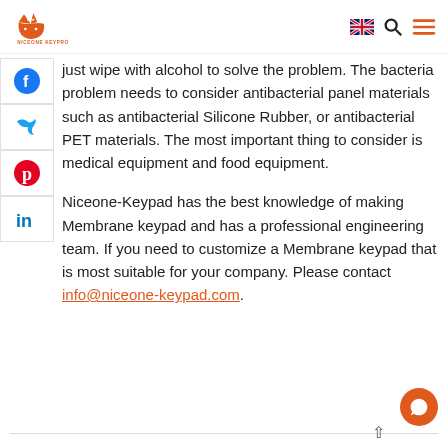NICEONE KEYPRO
just wipe with alcohol to solve the problem. The bacteria problem needs to consider antibacterial panel materials such as antibacterial Silicone Rubber, or antibacterial PET materials. The most important thing to consider is medical equipment and food equipment.
Niceone-Keypad has the best knowledge of making Membrane keypad and has a professional engineering team. If you need to customize a Membrane keypad that is most suitable for your company. Please contact info@niceone-keypad.com.